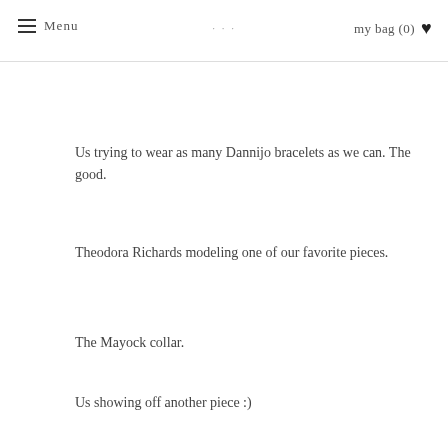Menu | my bag (0) ♥
Us trying to wear as many Dannijo bracelets as we can. The good.
Theodora Richards modeling one of our favorite pieces.
The Mayock collar.
Us showing off another piece :)
Spektor Earrings.